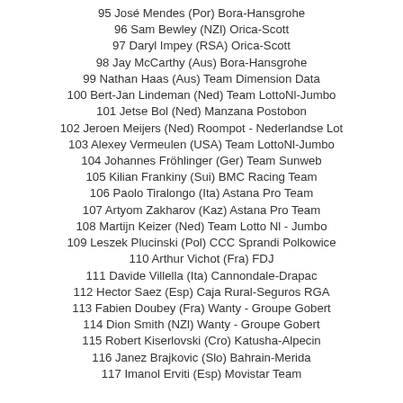95 José Mendes (Por) Bora-Hansgrohe
96 Sam Bewley (NZl) Orica-Scott
97 Daryl Impey (RSA) Orica-Scott
98 Jay McCarthy (Aus) Bora-Hansgrohe
99 Nathan Haas (Aus) Team Dimension Data
100 Bert-Jan Lindeman (Ned) Team LottoNl-Jumbo
101 Jetse Bol (Ned) Manzana Postobon
102 Jeroen Meijers (Ned) Roompot - Nederlandse Lot
103 Alexey Vermeulen (USA) Team LottoNl-Jumbo
104 Johannes Fröhlinger (Ger) Team Sunweb
105 Kilian Frankiny (Sui) BMC Racing Team
106 Paolo Tiralongo (Ita) Astana Pro Team
107 Artyom Zakharov (Kaz) Astana Pro Team
108 Martijn Keizer (Ned) Team Lotto Nl - Jumbo
109 Leszek Plucinski (Pol) CCC Sprandi Polkowice
110 Arthur Vichot (Fra) FDJ
111 Davide Villella (Ita) Cannondale-Drapac
112 Hector Saez (Esp) Caja Rural-Seguros RGA
113 Fabien Doubey (Fra) Wanty - Groupe Gobert
114 Dion Smith (NZl) Wanty - Groupe Gobert
115 Robert Kiserlovski (Cro) Katusha-Alpecin
116 Janez Brajkovic (Slo) Bahrain-Merida
117 Imanol Erviti (Esp) Movistar Team